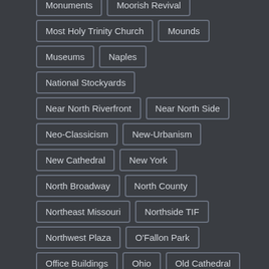Monuments
Moorish Revival
Most Holy Trinity Church
Mounds
Museums
Naples
National Stockyards
Near North Riverfront
Near North Side
Neo-Classicism
New-Urbanism
New Cathedral
New York
North Broadway
North County
Northeast Missouri
Northside TIF
Northwest Plaza
O'Fallon Park
Office Buildings
Ohio
Old Cathedral
Old Courthouse
Old North St. Louis